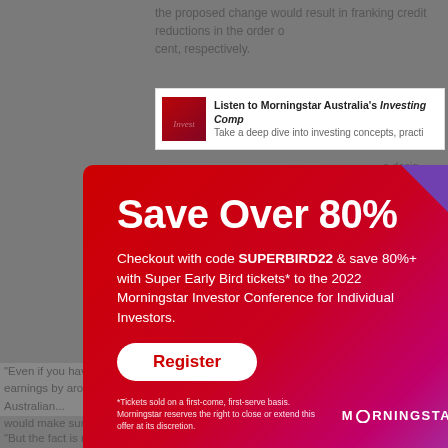the proposed change would result in franking credit reductions in the order of cent, respectively.
[Figure (screenshot): Morningstar podcast banner showing 'Listen to Morningstar Australia's Investing Comp...' with podcast thumbnail image and subtitle text]
[Figure (infographic): Red promotional popup modal overlay with gradient red-to-pink-to-purple background. Headline reads 'Save Over 80%'. Body text: 'Checkout with code SUPERBIRD22 & save 80%+ with Super Early Bird tickets* to the 2022 Morningstar Investor Conference for Individual Investors.' White 'Register' button with red text. Close X button top right. Footer: disclaimer text and Morningstar logo.]
*But the fact is most people do have a big proportion of Australian dividend stocks in their portfolio.
"Even if you have a 40 per cent exposure to Australian shares in your SMSF earnings by around 5 percentage points per annum, Philpot says. Suggesting Australian...